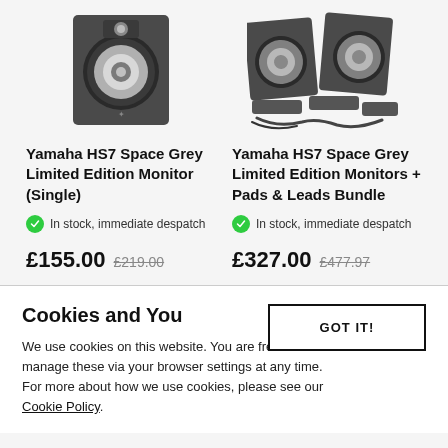[Figure (photo): Yamaha HS7 Space Grey studio monitor speaker (single), front view on grey background]
Yamaha HS7 Space Grey Limited Edition Monitor (Single)
In stock, immediate despatch
£155.00  £219.00
[Figure (photo): Yamaha HS7 Space Grey studio monitors bundle with isolation pads and leads, multiple items shown]
Yamaha HS7 Space Grey Limited Edition Monitors + Pads & Leads Bundle
In stock, immediate despatch
£327.00  £477.97
Cookies and You
We use cookies on this website. You are free to manage these via your browser settings at any time. For more about how we use cookies, please see our Cookie Policy.